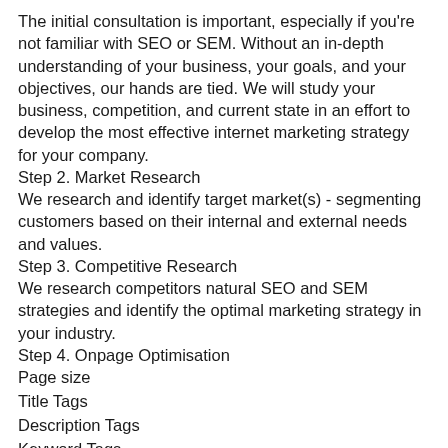The initial consultation is important, especially if you're not familiar with SEO or SEM. Without an in-depth understanding of your business, your goals, and your objectives, our hands are tied. We will study your business, competition, and current state in an effort to develop the most effective internet marketing strategy for your company.
Step 2. Market Research
We research and identify target market(s) - segmenting customers based on their internal and external needs and values.
Step 3. Competitive Research
We research competitors natural SEO and SEM strategies and identify the optimal marketing strategy in your industry.
Step 4. Onpage Optimisation
Page size
Title Tags
Description Tags
Keyword Tags
Image Alt Tags
Keyword Proximity
Unique Non-Spammy Content
Outbound Links